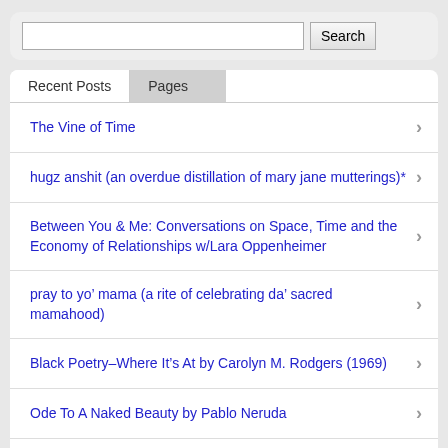Search
Recent Posts
Pages
The Vine of Time
hugz anshit (an overdue distillation of mary jane mutterings)*
Between You & Me: Conversations on Space, Time and the Economy of Relationships w/Lara Oppenheimer
pray to yo’ mama (a rite of celebrating da’ sacred mamahood)
Black Poetry–Where It’s At by Carolyn M. Rodgers (1969)
Ode To A Naked Beauty by Pablo Neruda
jimi, jesus & mary skinnydipping in rose water circa ’68 or something like that...